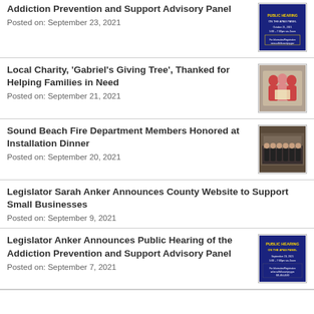Addiction Prevention and Support Advisory Panel
Posted on: September 23, 2021
Local Charity, 'Gabriel's Giving Tree', Thanked for Helping Families in Need
Posted on: September 21, 2021
Sound Beach Fire Department Members Honored at Installation Dinner
Posted on: September 20, 2021
Legislator Sarah Anker Announces County Website to Support Small Businesses
Posted on: September 9, 2021
Legislator Anker Announces Public Hearing of the Addiction Prevention and Support Advisory Panel
Posted on: September 7, 2021